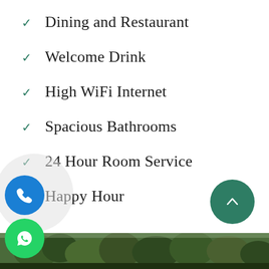Dining and Restaurant
Welcome Drink
High WiFi Internet
Spacious Bathrooms
24 Hour Room Service
Happy Hour
[Figure (photo): Forest/trees landscape photo strip at bottom of page]
[Figure (infographic): Blue circular phone call button (bottom left), green WhatsApp button (below call button), dark teal scroll-to-top arrow button (bottom right)]